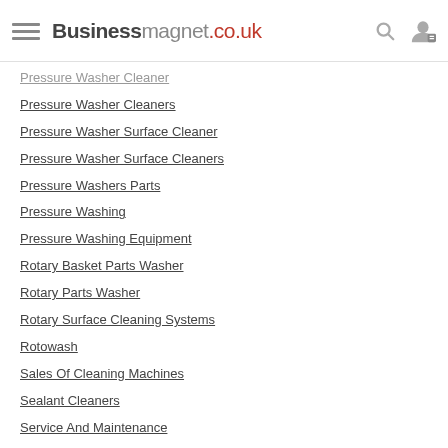Businessmagnet.co.uk
Pressure Washer Cleaner
Pressure Washer Cleaners
Pressure Washer Surface Cleaner
Pressure Washer Surface Cleaners
Pressure Washers Parts
Pressure Washing
Pressure Washing Equipment
Rotary Basket Parts Washer
Rotary Parts Washer
Rotary Surface Cleaning Systems
Rotowash
Sales Of Cleaning Machines
Sealant Cleaners
Service And Maintenance
Service And Repairs
Service Contracts